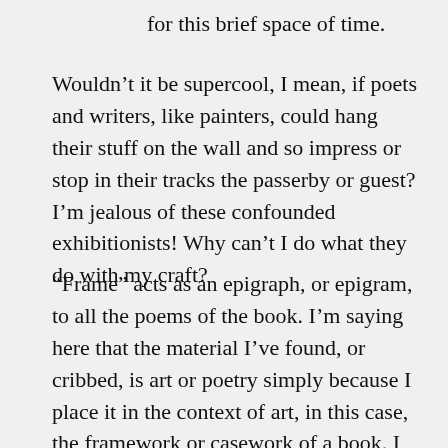for this brief space of time.
Wouldn’t it be supercool, I mean, if poets and writers, like painters, could hang their stuff on the wall and so impress or stop in their tracks the passerby or guest? I’m jealous of these confounded exhibitionists! Why can’t I do what they do with my craft?
“Frame” acts as an epigraph, or epigram, to all the poems of the book. I’m saying here that the material I’ve found, or cribbed, is art or poetry simply because I place it in the context of art, in this case, the framework or casework of a book. I separate a stray remark from the ephemeral world in which it is uttered and lost